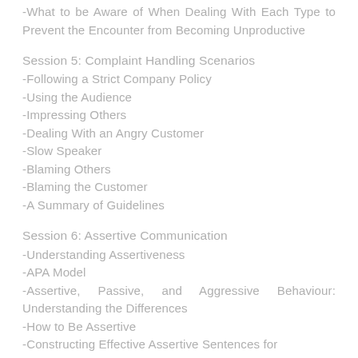-What to be Aware of When Dealing With Each Type to Prevent the Encounter from Becoming Unproductive
Session 5: Complaint Handling Scenarios
-Following a Strict Company Policy
-Using the Audience
-Impressing Others
-Dealing With an Angry Customer
-Slow Speaker
-Blaming Others
-Blaming the Customer
-A Summary of Guidelines
Session 6: Assertive Communication
-Understanding Assertiveness
-APA Model
-Assertive, Passive, and Aggressive Behaviour: Understanding the Differences
-How to Be Assertive
-Constructing Effective Assertive Sentences for